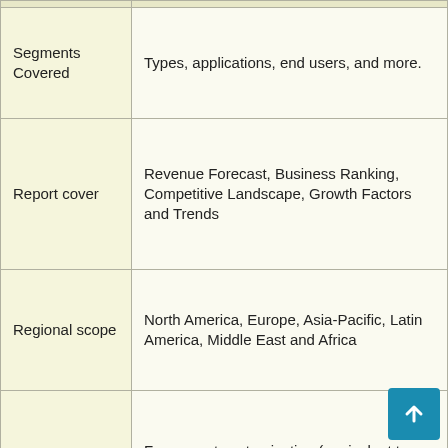|  |  |
| --- | --- |
| Segments Covered | Types, applications, end users, and more. |
| Report cover | Revenue Forecast, Business Ranking, Competitive Landscape, Growth Factors and Trends |
| Regional scope | North America, Europe, Asia-Pacific, Latin America, Middle East and Africa |
| Scope of customization | Free report customization (equivalent to up to 8 analyst business days) with purchase. Added or changed country, region and segment scope. |
| Prices and purchase options | Take advantage of personalized purchasing options to meet your exact research needs. Explore purchase |